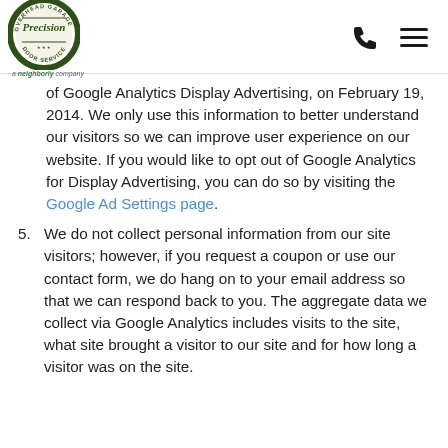[Figure (logo): Precision Overhead Garage Door Service logo — circular badge with text 'Overhead Garage Door Service' around the edge and 'Precision' in the center, with 'a neighborly company' tagline below]
of Google Analytics Display Advertising, on February 19, 2014. We only use this information to better understand our visitors so we can improve user experience on our website. If you would like to opt out of Google Analytics for Display Advertising, you can do so by visiting the Google Ad Settings page.
5. We do not collect personal information from our site visitors; however, if you request a coupon or use our contact form, we do hang on to your email address so that we can respond back to you. The aggregate data we collect via Google Analytics includes visits to the site, what site brought a visitor to our site and for how long a visitor was on the site.